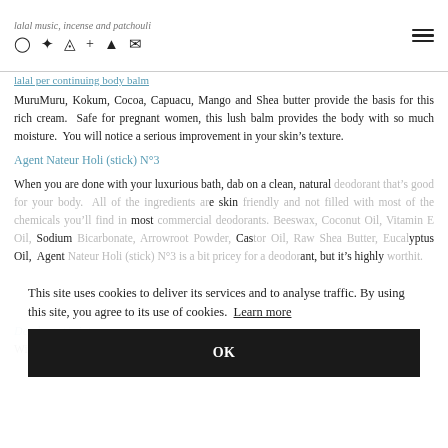lalal music, incense and patchouli | social icons | hamburger menu
lalal per continuing body balm
MuruMuru, Kokum, Cocoa, Capuacu, Mango and Shea butter provide the basis for this rich cream. Safe for pregnant women, this lush balm provides the body with so much moisture. You will notice a serious improvement in your skin’s texture.
Agent Nateur Holi (stick) N°3
When you are done with your luxurious bath, dab on a clean, natural deodorant that’s good for your body. All of the ingredients are skin friendly and not filled with most of the chemicals you’ll find in most commercial deodorants. Beeswax, Coconut Oil, Vitamin E Oil, Sodium Bicarbonate, Arrowroot Powder, Castor Oil, Raw Shea Butter, Eucalyptus Oil, Agent Nateur Holi (stick) N°3 is a bit pricey for a deodorant, but it’s highly worthit.
This site uses cookies to deliver its services and to analyse traffic. By using this site, you agree to its use of cookies. Learn more
Deodorant/mint
With the colder temps, your lips are the first to get severely dry. Keep